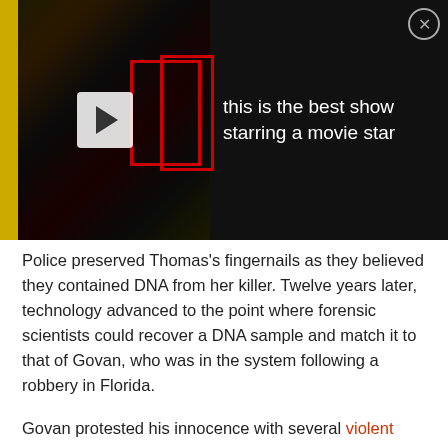[Figure (screenshot): Video banner with dark thumbnail on left showing a play button and red bounding boxes over a figure, with text 'this is the best show starring a movie star' on right, and a close (X) button in top-right corner.]
Police preserved Thomas's fingernails as they believed they contained DNA from her killer. Twelve years later, technology advanced to the point where forensic scientists could recover a DNA sample and match it to that of Govan, who was in the system following a robbery in Florida.
Govan protested his innocence with several violent outbursts during court proceedings, but police and prosecutors strongly believe the same person is responsible for both murders. Not only that, but Chief of Detectives, Robert Boyce, stated Govan is being investigated in connection with other crimes, believing there is a "near possibility" that he might be responsible